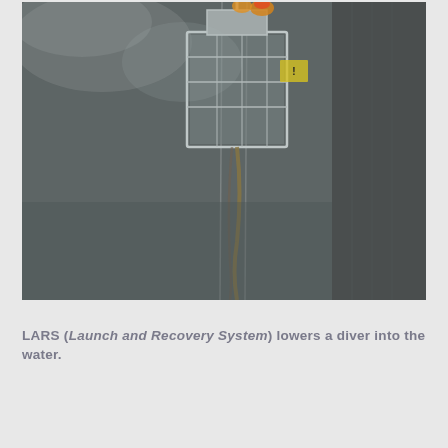[Figure (photo): A LARS (Launch and Recovery System) lowering a diver in a cage/bell into dark water alongside a ship hull. Workers in high-visibility gear are visible at the top. A cable/umbilical runs down the side.]
LARS (Launch and Recovery System) lowers a diver into the water.